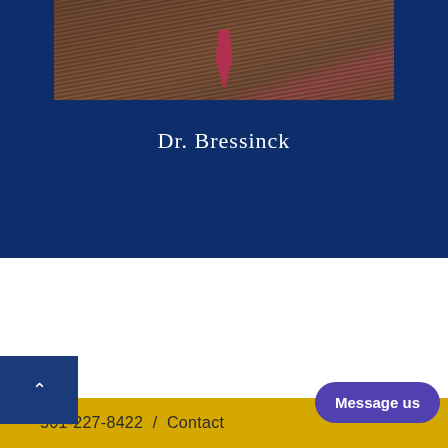[Figure (photo): Partial photo of Dr. Bressinck wearing a dark pinstripe suit and red tie, cropped to show torso area only]
Dr. Bressinck
Melanoma Basics
Melanoma is a potentially deadly skin cancer that comes from melanocytes,
501-227-8422  /  Contact